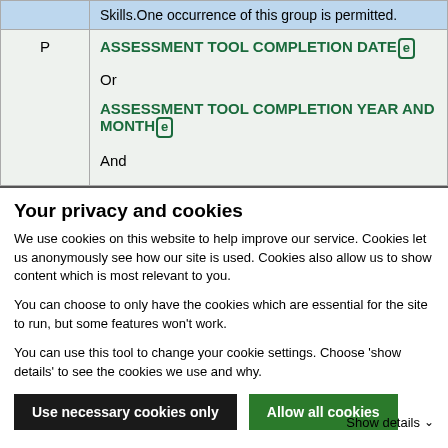|  |  |
| --- | --- |
|  | Skills.One occurrence of this group is permitted. |
| P | ASSESSMENT TOOL COMPLETION DATE [e]
Or
ASSESSMENT TOOL COMPLETION YEAR AND MONTH [e]
And |
Your privacy and cookies
We use cookies on this website to help improve our service.  Cookies let us anonymously see how our site is used.  Cookies also allow us to show content which is most relevant to you.
You can choose to only have the cookies which are essential for the site to run, but some features won't work.
You can use this tool to change your cookie settings. Choose 'show details' to see the cookies we use and why.
Use necessary cookies only | Allow all cookies | Show details